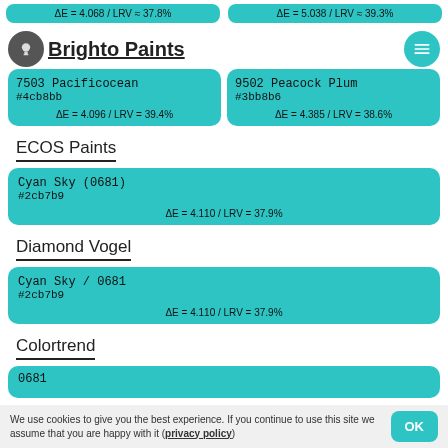ΔE = 4.068 / LRV ≈ 37.8%
ΔE = 5.038 / LRV ≈ 39.3%
Brighto Paints
| 7503 Pacificocean
#4cb8bb
ΔE = 4.096 / LRV = 39.4% | 9502 Peacock Plum
#3bb8b6
ΔE = 4.385 / LRV = 38.6% |
ECOS Paints
| Cyan Sky (0681)
#2cb7b9
ΔE = 4.110 / LRV = 37.9% |
Diamond Vogel
| Cyan Sky / 0681
#2cb7b9
ΔE = 4.110 / LRV = 37.9% |
Colortrend
We use cookies to give you the best experience. If you continue to use this site we assume that you are happy with it (privacy policy)